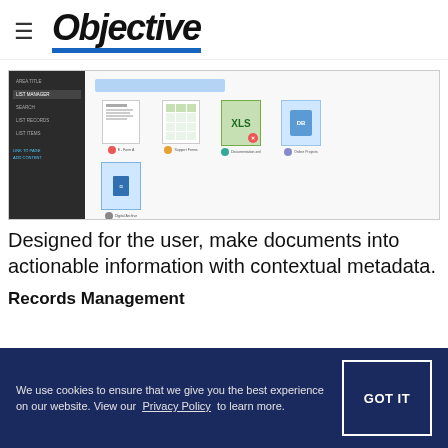≡ Objective
[Figure (screenshot): Screenshot of a document management interface showing a sidebar navigation on the left and a main content area with document icons/thumbnails on the right]
Designed for the user, make documents into actionable information with contextual metadata.
Records Management
We use cookies to ensure that we give you the best experience on our website. View our Privacy Policy to learn more.